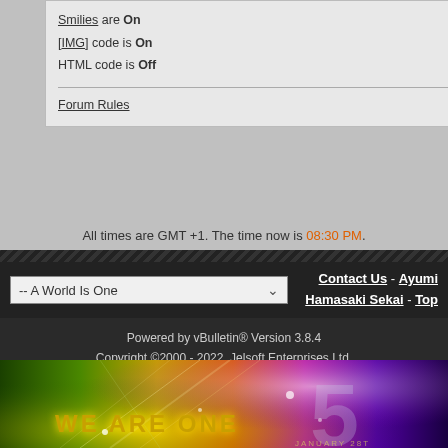Smilies are On
[IMG] code is On
HTML code is Off
Forum Rules
All times are GMT +1. The time now is 08:30 PM.
-- A World Is One
Contact Us - Ayumi Hamasaki Sekai - Top
Powered by vBulletin® Version 3.8.4
Copyright ©2000 - 2022, Jelsoft Enterprises Ltd.
[Figure (illustration): Colorful banner image with 'WE ARE ONE' text in gold, large semi-transparent number 5, colorful light rays in green, yellow, orange, pink, purple. Text 'JANUARY 28TH' at bottom right.]